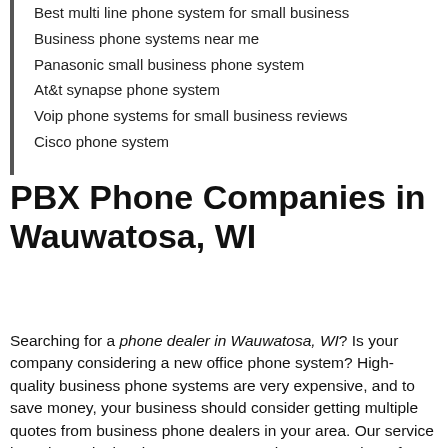Best multi line phone system for small business
Business phone systems near me
Panasonic small business phone system
At&t synapse phone system
Voip phone systems for small business reviews
Cisco phone system
PBX Phone Companies in Wauwatosa, WI
Searching for a phone dealer in Wauwatosa, WI? Is your company considering a new office phone system? High-quality business phone systems are very expensive, and to save money, your business should consider getting multiple quotes from business phone dealers in your area. Our service has phone dealers in Wauwatosa, WI that can send you free no-obligation quotes for business PBX systems, hosted PBX phones, VOIP business…